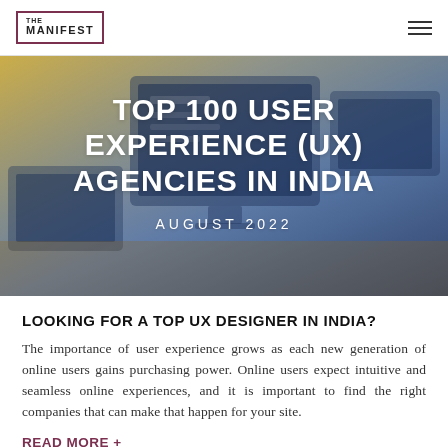THE MANIFEST
[Figure (photo): Hero banner image showing computer monitors and devices on a desk with a yellow-blue tinted overlay. Text overlay reads: TOP 100 USER EXPERIENCE (UX) AGENCIES IN INDIA, AUGUST 2022]
TOP 100 USER EXPERIENCE (UX) AGENCIES IN INDIA
AUGUST 2022
LOOKING FOR A TOP UX DESIGNER IN INDIA?
The importance of user experience grows as each new generation of online users gains purchasing power. Online users expect intuitive and seamless online experiences, and it is important to find the right companies that can make that happen for your site.
READ MORE +